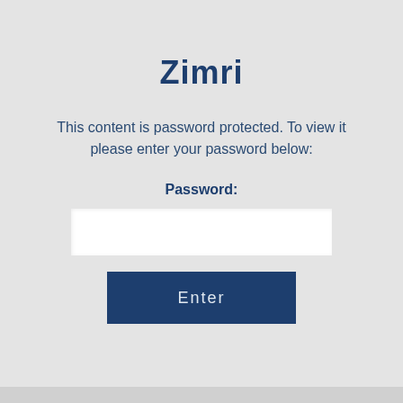Zimri
This content is password protected. To view it please enter your password below:
Password:
[Figure (screenshot): A white password input text field]
Enter